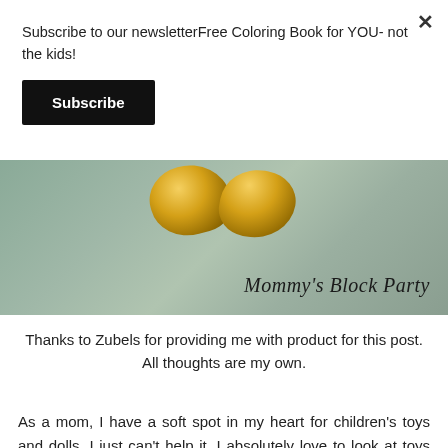Subscribe to our newsletterFree Coloring Book for YOU- not the kids!
Subscribe
[Figure (photo): Banner image showing golden nugget-shaped objects on a textured grey-green background with cursive script reading 'Mommy's Block Party']
Thanks to Zubels for providing me with product for this post. All thoughts are my own.
As a mom, I have a soft spot in my heart for children's toys and dolls. I just can't help it. I absolutely love to look at toys and dolls when we step into a retail store and then begin to ponder whether or not my child would enjoy said toy or doll. Every now